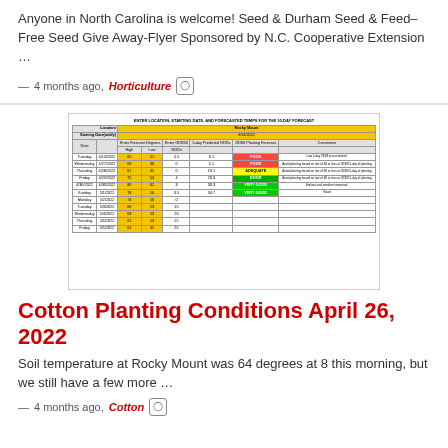Anyone in North Carolina is welcome! Seed & Durham Seed & Feed– Free Seed Give Away-Flyer Sponsored by N.C. Cooperative Extension …
— 4 months ago, Horticulture
[Figure (table-as-image): Screenshot of a cotton planting conditions spreadsheet showing location Rocky Mount, starting date 4/14/2022, with 10-day forecast data including dates, temperatures, DDT60 values, and planting forecast ratings (POOR, ADEQUATE, GOOD, VERY GOOD) with color coding.]
Cotton Planting Conditions April 26, 2022
Soil temperature at Rocky Mount was 64 degrees at 8 this morning, but we still have a few more …
— 4 months ago, Cotton